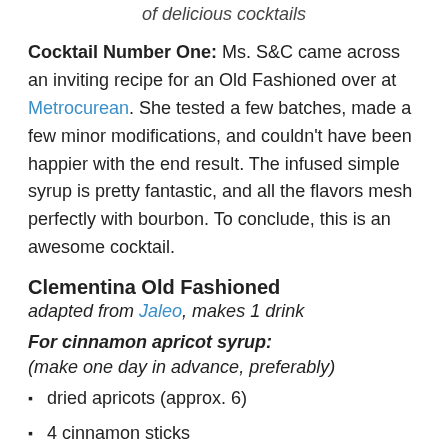of delicious cocktails
Cocktail Number One: Ms. S&C came across an inviting recipe for an Old Fashioned over at Metrocurean. She tested a few batches, made a few minor modifications, and couldn't have been happier with the end result. The infused simple syrup is pretty fantastic, and all the flavors mesh perfectly with bourbon. To conclude, this is an awesome cocktail.
Clementina Old Fashioned
adapted from Jaleo, makes 1 drink
For cinnamon apricot syrup:
(make one day in advance, preferably)
dried apricots (approx. 6)
4 cinnamon sticks